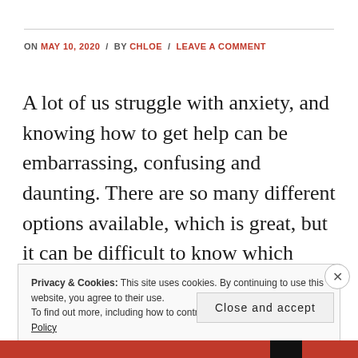ON MAY 10, 2020 / BY CHLOE / LEAVE A COMMENT
A lot of us struggle with anxiety, and knowing how to get help can be embarrassing, confusing and daunting. There are so many different options available, which is great, but it can be difficult to know which option is best for you, and which options are actually effective. Whilst I am not a medical professional, …
Privacy & Cookies: This site uses cookies. By continuing to use this website, you agree to their use.
To find out more, including how to control cookies, see here: Cookie Policy